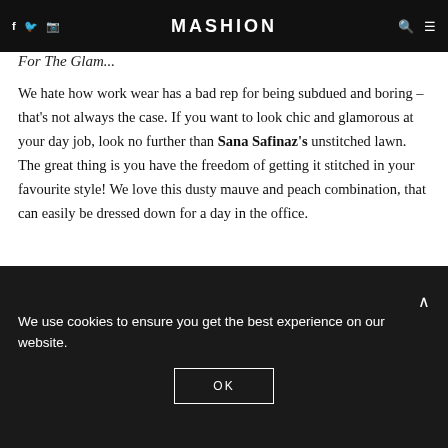MASHION
For The Glam...
We hate how work wear has a bad rep for being subdued and boring – that's not always the case. If you want to look chic and glamorous at your day job, look no further than Sana Safinaz's unstitched lawn. The great thing is you have the freedom of getting it stitched in your favourite style! We love this dusty mauve and peach combination, that can easily be dressed down for a day in the office.
We use cookies to ensure you get the best experience on our website.
OK